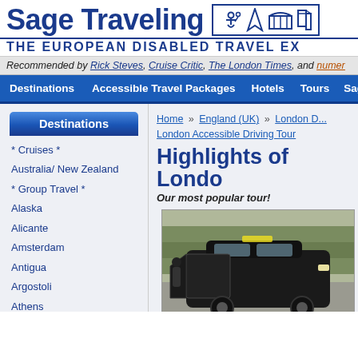Sage Traveling — The European Disabled Travel Ex...
Recommended by Rick Steves, Cruise Critic, The London Times, and numer...
Destinations | Accessible Travel Packages | Hotels | Tours | Sage...
Destinations
* Cruises *
Australia/ New Zealand
* Group Travel *
Alaska
Alicante
Amsterdam
Antigua
Argostoli
Athens
Barcelona
Bari
Belfast
Berlin
Home » England (UK) » London D... London Accessible Driving Tour
Highlights of Londo...
Our most popular tour!
[Figure (photo): Black London taxi cab with door open, parked on street with trees in background]